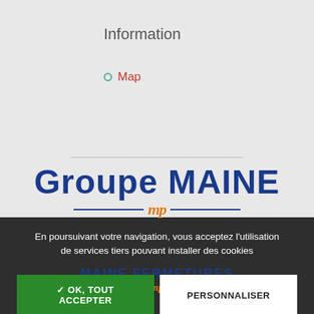Information
Map
[Figure (logo): Groupe MAINE logo with blue bold text and orange MP script mark with blue horizontal lines underneath]
[Figure (logo): MAINE FERMETURES logo in bold blue uppercase text with orange MP script mark and blue lines]
En poursuivant votre navigation, vous acceptez l'utilisation de services tiers pouvant installer des cookies
✓ OK, TOUT ACCEPTER
PERSONNALISER